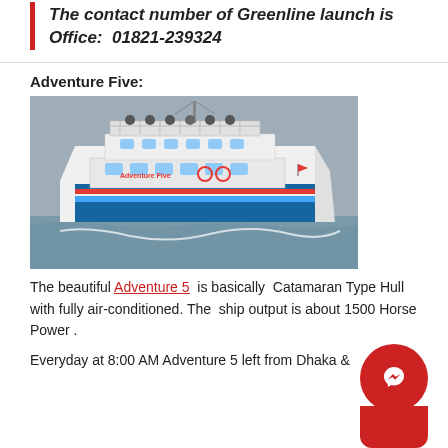The contact number of Greenline launch is Office: 01821-239324
Adventure Five:
[Figure (photo): A large white passenger ferry/launch called Adventure 5, a Catamaran type vessel, sailing on choppy water. The multi-deck ship is crowded with passengers on all decks.]
The beautiful Adventure 5 is basically Catamaran Type Hull with fully air-conditioned. The ship output is about 1500 Horse Power .
Everyday at 8:00 AM Adventure 5 left from Dhaka &